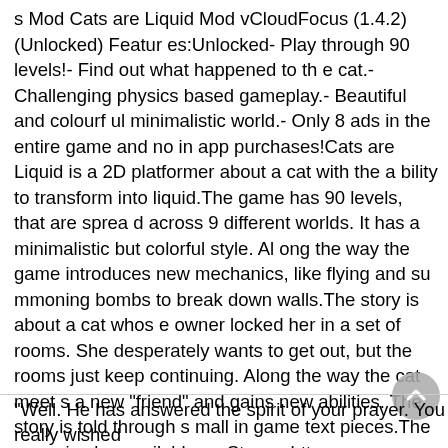s Mod Cats are Liquid Mod vCloudFocus (1.4.2) (Unlocked) Features:Unlocked- Play through 90 levels!- Find out what happened to the cat.- Challenging physics based gameplay.- Beautiful and colourful minimalistic world.- Only 8 ads in the entire game and no in app purchases!Cats are Liquid is a 2D platformer about a cat with the ability to transform into liquid.The game has 90 levels, that are spread across 9 different worlds. It has a minimalistic but colorful style. Along the way the game introduces new mechanics, like flying and summoning bombs to break down walls.The story is about a cat whose owner locked her in a set of rooms. She desperately wants to get out, but the rooms just keep continuing. Along the way the cat meets a new "friend" and gains new abilities. The story is told through small in game text pieces.The game is also available on Steam: http://store.steampowered.com/app/498330 ($0.99)The latest news about the game can be found on the @lquarterstudios Twitter feed.#CatsAreLiquid on Twitter◆
"Well. He has answered the spirit of your prayer. You really wished